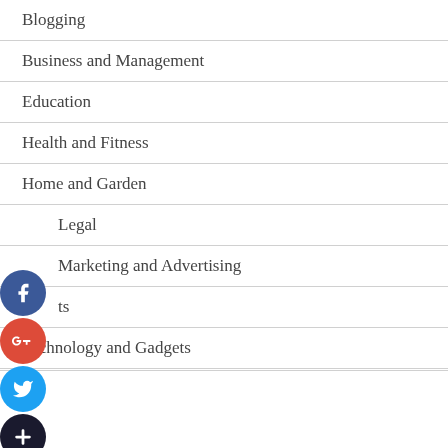Blogging
Business and Management
Education
Health and Fitness
Home and Garden
Legal
Marketing and Advertising
ts
Technology and Gadgets